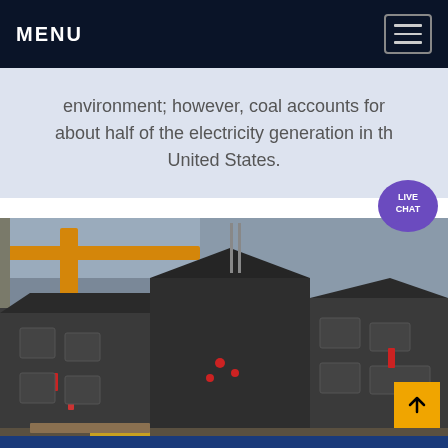MENU
environment; however, coal accounts for about half of the electricity generation in the United States.
[Figure (photo): Industrial coal mining or processing machinery — heavy dark metal equipment with bolted panels and red fittings, photographed inside a large factory or warehouse with yellow overhead crane beams visible.]